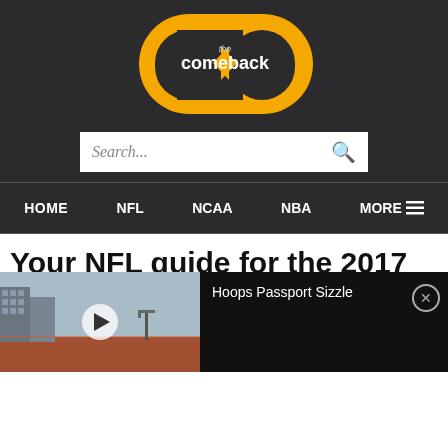[Figure (logo): The Comeback logo — yellow/gold interlocking 'cb' letters with arrows, 'the comeback' text, on dark background]
[Figure (screenshot): Search bar with placeholder text 'Search...' and a search icon on white background]
HOME    NFL    NCAA    NBA    MORE ≡
Your NFL guide for the 2017
[Figure (photo): Video player overlay: left side shows outdoor basketball court photo with play button; right side shows black panel with title 'Hoops Passport Sizzle' and a close (X) button]